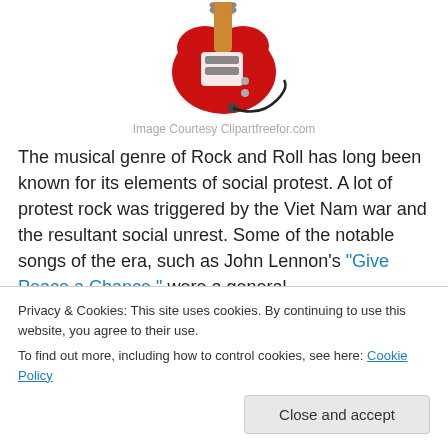[Figure (illustration): Red electric guitar with white pickguard, plugged in with a black cable, clipart style illustration]
Image Courtesy Clipartfreefor.com
The musical genre of Rock and Roll has long been known for its elements of social protest. A lot of protest rock was triggered by the Viet Nam war and the resultant social unrest. Some of the notable songs of the era, such as John Lennon's “Give Peace a Chance,” were a general
Privacy & Cookies: This site uses cookies. By continuing to use this website, you agree to their use.
To find out more, including how to control cookies, see here: Cookie Policy